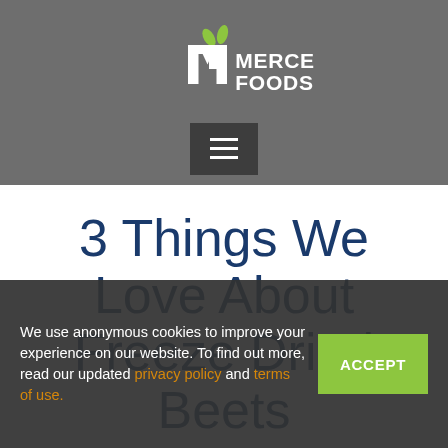[Figure (logo): Mercer Foods logo — white stylized M with green leaves above it, followed by text MERCER FOODS in white on grey background]
3 Things We Love About Freeze Dried Beets
We use anonymous cookies to improve your experience on our website. To find out more, read our updated privacy policy and terms of use.